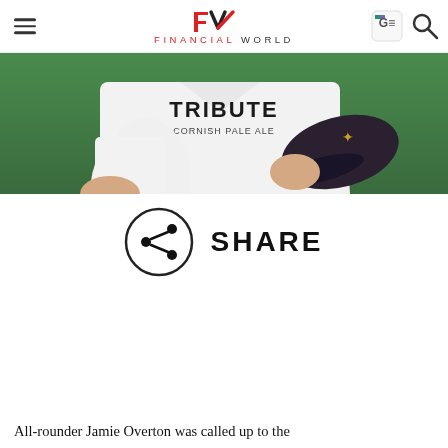FINANCIAL WORLD
[Figure (photo): Cricket player in white jersey with 'TRIBUTE CORNISH PALE ALE' sponsor text, holding a dark cap on a green cricket field background]
[Figure (infographic): Share button icon (circle with share symbol) next to the word SHARE]
All-rounder Jamie Overton was called up to the